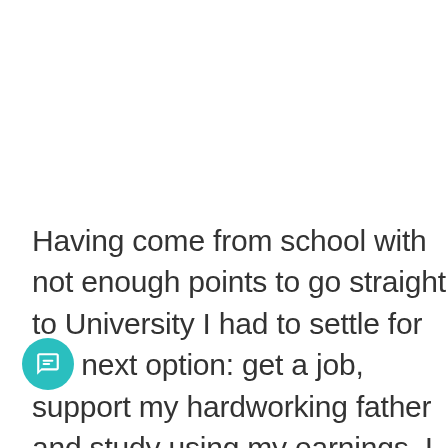Having come from school with not enough points to go straight to University I had to settle for the next option: get a job, support my hardworking father and study using my earnings. I took a job with a large blue chip retail company after passing their aptitude tests with brilliant colors. Then my pain began, instead of being remembered as the brilliant kid with a great potential I was relegated to being a stand in for the general hand and at best I was delegated to window dress the